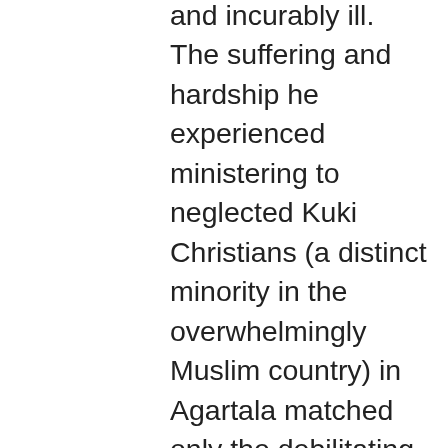and incurably ill. The suffering and hardship he experienced ministering to neglected Kuki Christians (a distinct minority in the overwhelmingly Muslim country) in Agartala matched only the debilitating, disfiguring pain of facial skin cancer he carried for the rest of his life. Illness ultimately brought McCauley home to America in May 1944, where, after nearly an entire year in recovery, he joined the formation staff at Holy